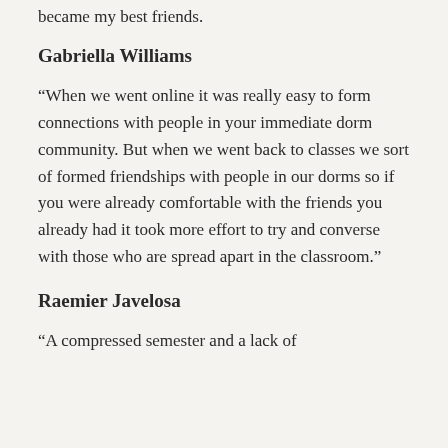became my best friends.
Gabriella Williams
“When we went online it was really easy to form connections with people in your immediate dorm community. But when we went back to classes we sort of formed friendships with people in our dorms so if you were already comfortable with the friends you already had it took more effort to try and converse with those who are spread apart in the classroom.”
Raemier Javelosa
“A compressed semester and a lack of